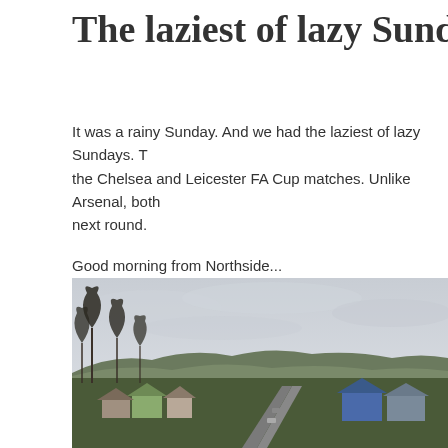The laziest of lazy Sundays.
It was a rainy Sunday. And we had the laziest of lazy Sundays. T the Chelsea and Leicester FA Cup matches. Unlike Arsenal, both next round.
Good morning from Northside...
[Figure (photo): Aerial view of a residential neighborhood called Northside on a grey overcast day. Bare winter trees on the left, rows of houses along a street extending into the distance, rolling hills in the background under a grey cloudy sky.]